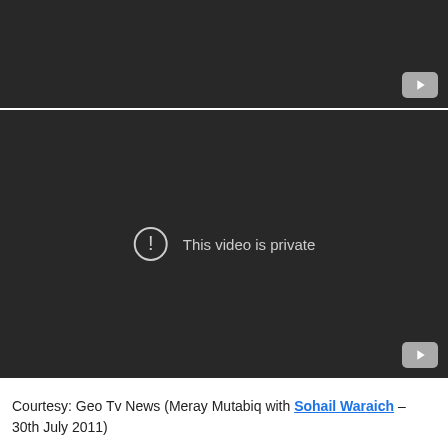[Figure (screenshot): Black video player thumbnail (top, partially visible) with a YouTube play button in the bottom-right corner]
[Figure (screenshot): Black video player with 'This video is private' message in the center and a YouTube play button in the bottom-right corner]
Courtesy: Geo Tv News (Meray Mutabiq with Sohail Waraich – 30th July 2011)